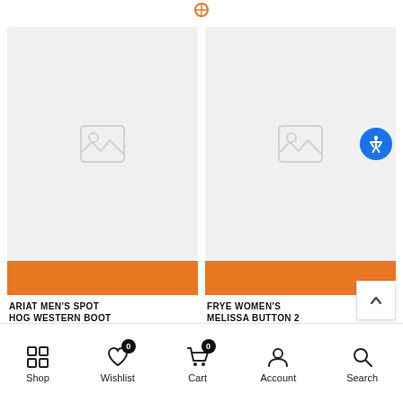[Figure (screenshot): Product card image placeholder (light gray) with image-broken icon for Ariat Men's Spot Hog Western Boot, orange add-to-cart bar at bottom]
[Figure (screenshot): Product card image placeholder (light gray) with image-broken icon for Frye Women's Melissa Button 2, orange add-to-cart bar at bottom, accessibility button overlay]
ARIAT MEN'S SPOT HOG WESTERN BOOT
FRYE WOMEN'S MELISSA BUTTON 2
Shop | Wishlist 0 | Cart 0 | Account | Search